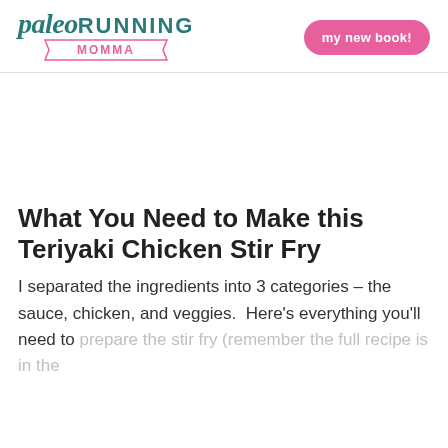paleo RUNNING MOMMA | my new book!
What You Need to Make this Teriyaki Chicken Stir Fry
I separated the ingredients into 3 categories – the sauce, chicken, and veggies.  Here's everything you'll need to prepare the stir fry (remember the full recipe is in the